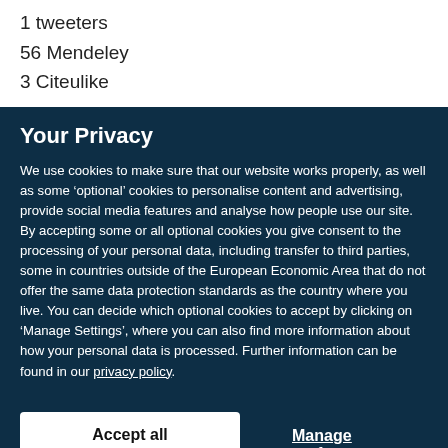1 tweeters
56 Mendeley
3 Citeulike
Your Privacy
We use cookies to make sure that our website works properly, as well as some ‘optional’ cookies to personalise content and advertising, provide social media features and analyse how people use our site. By accepting some or all optional cookies you give consent to the processing of your personal data, including transfer to third parties, some in countries outside of the European Economic Area that do not offer the same data protection standards as the country where you live. You can decide which optional cookies to accept by clicking on ‘Manage Settings’, where you can also find more information about how your personal data is processed. Further information can be found in our privacy policy.
Accept all cookies
Manage preferences